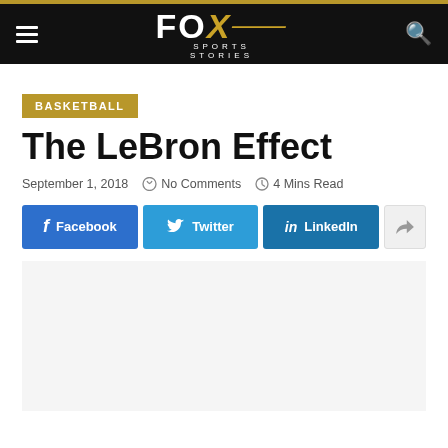FOX SPORTS STORIES
BASKETBALL
The LeBron Effect
September 1, 2018   No Comments   4 Mins Read
Facebook   Twitter   LinkedIn